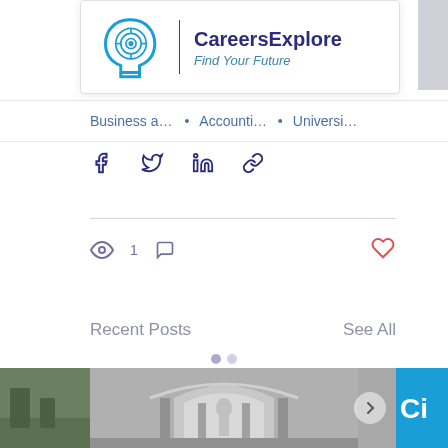[Figure (logo): CareersExplore logo — blue head with circuit/maze icon, vertical divider, company name and tagline 'Find Your Future']
Business and ... • Accounting... • Universitie...
[Figure (infographic): Share icons row: Facebook, Twitter, LinkedIn, link/chain icon — all in dark navy blue]
[Figure (infographic): Stats row: eye icon with count 1, comment bubble icon; heart icon (red outline) on right]
Recent Posts
See All
[Figure (photo): Three post preview images in a horizontal carousel strip: left partial green outdoor scene, center grayscale grand hall interior with arched ceiling and statue, right partial blue branded image with 'Ci' text visible. Two purple carousel indicator dots above.]